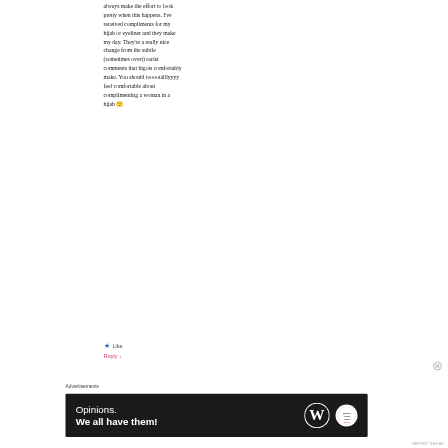always make the effort to look pretty when this happens. I've received compliments for my hijab or eyeliner and they make my day. They're a really nice change from the subtle (sometimes overt) racist comments that bigots comfortably make. You should tooootalllyyyy feel comfortable about complimenting a woman in a hijab 🙂
★ Like
Reply ↓
Advertisements
[Figure (other): Dark advertisement banner for WordPress/opinions reading 'Opinions. We all have them!' with WordPress W logo and a partner circle logo on a dark background.]